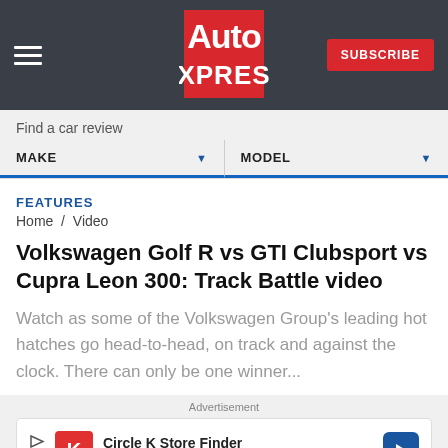Auto Express - SUBSCRIBE
Find a car review
MAKE   MODEL
FEATURES
Home / Video
Volkswagen Golf R vs GTI Clubsport vs Cupra Leon 300: Track Battle video
Watch as some of the Volkswagen Group's leading hot hatches go head-to-head, on track and against the clock. There can only be one winner...
Advertisement
[Figure (other): Circle K Store Finder advertisement banner with Circle K logo and navigation arrow icon]